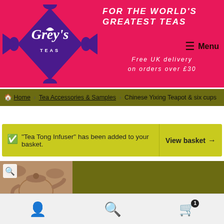[Figure (logo): Grey's Teas ornate purple diamond logo with decorative scroll work on pink/red background]
FOR THE WORLD'S GREATEST TEAS
Menu
Free UK delivery on orders over £30
Home › Tea Accessories & Samples › Chinese Yixing Teapot & six cups
"Tea Tong Infuser" has been added to your basket.
View basket →
[Figure (photo): Clay Chinese Yixing teapot with six small cups, brown/terracotta color]